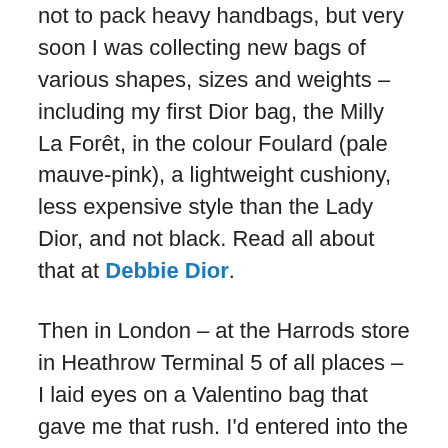not to pack heavy handbags, but very soon I was collecting new bags of various shapes, sizes and weights – including my first Dior bag, the Milly La Forêt, in the colour Foulard (pale mauve-pink), a lightweight cushiony, less expensive style than the Lady Dior, and not black. Read all about that at Debbie Dior.
Then in London – at the Harrods store in Heathrow Terminal 5 of all places – I laid eyes on a Valentino bag that gave me that rush. I'd entered into the world of Valentino while in France, shortly after my plunge into Dior, and the Italian brand's bows, rosettes and ruffles unfailingly appealed to my innate sense of romance and whimsy. So I bought my black Valentino large bow zip bag tax-free en route to Madrid, and enjoyed it frequently through that northern hemisphere autumn and winter. With its sturdy large handles and long detachable shoulder